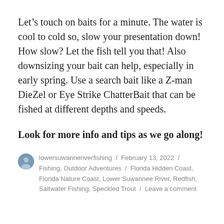Let's touch on baits for a minute. The water is cool to cold so, slow your presentation down! How slow? Let the fish tell you that! Also downsizing your bait can help, especially in early spring. Use a search bait like a Z-man DieZel or Eye Strike ChatterBait that can be fished at different depths and speeds.
Look for more info and tips as we go along!
lowersuwanneriverfishing / February 13, 2022 / Fishing, Outdoor Adventures / Florida Hidden Coast, Florida Nature Coast, Lower Suwannee River, Redfish, Saltwater Fishing, Speckled Trout / Leave a comment